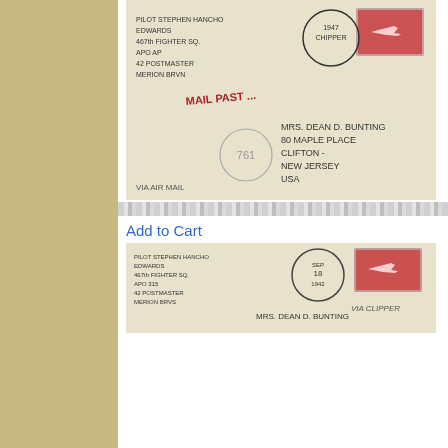Add to Cart
[Figure (photo): Envelope with handwritten address to Mrs. Dean D. Bunting, 80 Maple Place, Clifton, New Jersey, USA. Red airmail stamp top right, postmark dated 1942, Army 761 censor circular mark, purple 'AIR MAIL' marking, handwritten return address for 12th Fighter Squadron, APO.]
U.S. A.P.O.'s
6c Transport 1942 American Base Forces, A.P.O. [915] Christmas Island 12th Fighter Squadron Concession Airmail to Clifton, N.J. with ms Via Clipper. Army 761 Censor. Creases and light envelope gum stains.
AP420908B
$35.00
Add to Cart
[Figure (photo): Second envelope with handwritten address to Mrs. Dean D. Bunting. Red airmail stamp top right, circular postmark dated Sep 18, 'Via Clipper' marking, handwritten return address for 12th Fighter Squadron APO.]